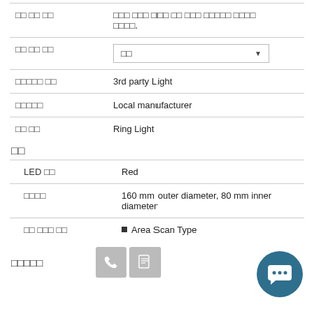| □□ □□ □□ | □□□ □□□ □□□ □□ □□□ □□□□□ □□□□
□□□□. |
| □□ □□ □□ | □□ [dropdown] |
| □□□□□ □□ | 3rd party Light |
| □□□□□ | Local manufacturer |
| □□ □□ | Ring Light |
□□
| LED □□ | Red |
| □□□□ | 160 mm outer diameter, 80 mm inner diameter |
| □□ □□□ □□ | • Area Scan Type |
□□□□□
[Figure (infographic): Chat support button (dark teal circle with speech bubble icon), phone icon button, document icon button]